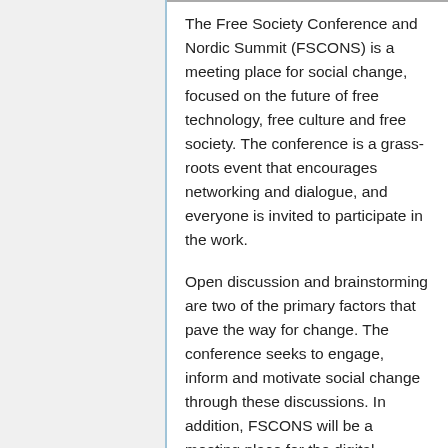The Free Society Conference and Nordic Summit (FSCONS) is a meeting place for social change, focused on the future of free technology, free culture and free society. The conference is a grass-roots event that encourages networking and dialogue, and everyone is invited to participate in the work.
Open discussion and brainstorming are two of the primary factors that pave the way for change. The conference seeks to engage, inform and motivate social change through these discussions. In addition, FSCONS will be a meeting place for the digital revolution, providing presentations, workshops and showrooms, as well as social events in the evenings. Due to the variety of participants from across the digital